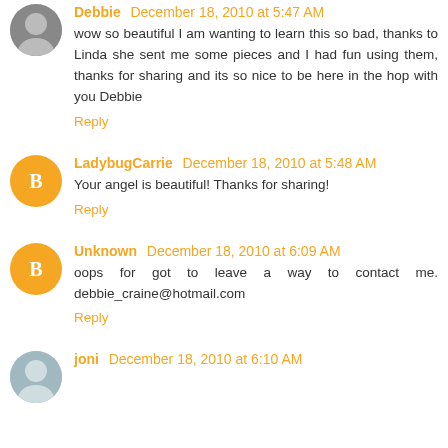Debbie December 18, 2010 at 5:47 AM
wow so beautiful I am wanting to learn this so bad, thanks to Linda she sent me some pieces and I had fun using them, thanks for sharing and its so nice to be here in the hop with you Debbie
Reply
LadybugCarrie December 18, 2010 at 5:48 AM
Your angel is beautiful! Thanks for sharing!
Reply
Unknown December 18, 2010 at 6:09 AM
oops for got to leave a way to contact me. debbie_craine@hotmail.com
Reply
joni December 18, 2010 at 6:10 AM